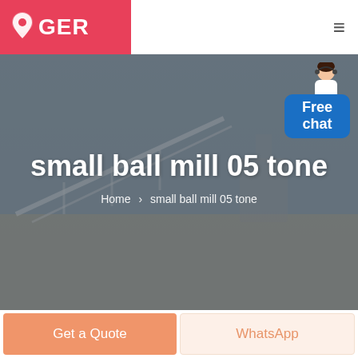[Figure (logo): MyGer logo with pink/red background, heart-pin icon and GER text in white]
[Figure (photo): Industrial mining/quarry site with conveyor belts and machinery, used as hero banner background]
small ball mill 05 tone
Home > small ball mill 05 tone
[Figure (illustration): Customer service representative figure with Free chat button overlay]
Get a Quote
WhatsApp